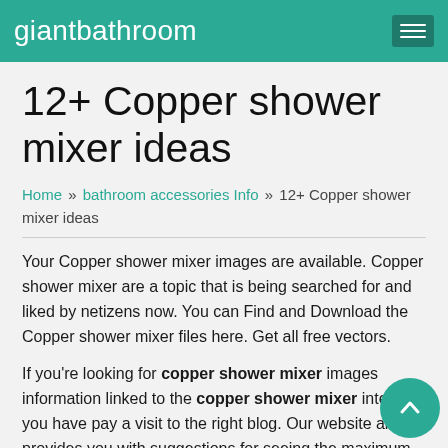giantbathroom
12+ Copper shower mixer ideas
Home » bathroom accessories Info » 12+ Copper shower mixer ideas
Your Copper shower mixer images are available. Copper shower mixer are a topic that is being searched for and liked by netizens now. You can Find and Download the Copper shower mixer files here. Get all free vectors.
If you're looking for copper shower mixer images information linked to the copper shower mixer interest, you have pay a visit to the right blog. Our website always provides you with suggestions for seeing the maximum quality video and image content, please kindly hunt and